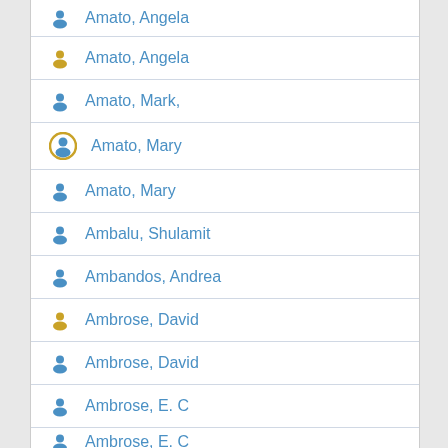Amato, Angela
Amato, Angela
Amato, Mark,
Amato, Mary
Amato, Mary
Ambalu, Shulamit
Ambandos, Andrea
Ambrose, David
Ambrose, David
Ambrose, E. C
Ambrose, E. C